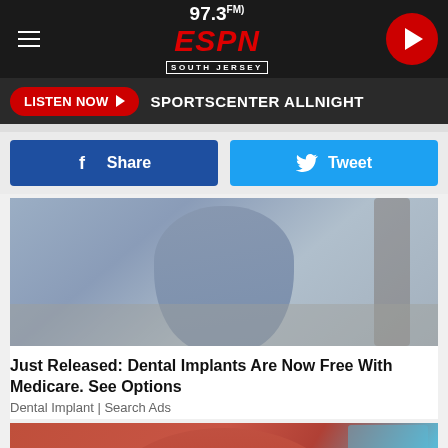97.3 FM ESPN South Jersey
LISTEN NOW ▶  SPORTSCENTER ALLNIGHT
Share  Tweet
[Figure (photo): Torso of a person in a tight grey/blue short-sleeved dress, outdoors on a sidewalk]
Just Released: Dental Implants Are Now Free With Medicare. See Options
Dental Implant | Search Ads
[Figure (photo): Torso of a person in a coral/red outfit, with blue background]